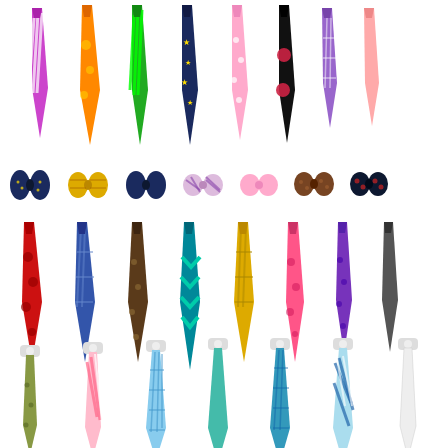[Figure (illustration): Collection of various neckties and bow ties in multiple colors, patterns, and styles arranged in four rows. Row 1: 8 long neckties (purple striped, orange floral, green striped, navy with stars, pink polka dot, black with roses, purple checkered, plain pink). Row 2: 7 bow ties (navy with dots, yellow plaid, navy plain, striped pink/purple, pink plain, brown with pattern, navy with red). Row 3: 8 long neckties (red polka dot, blue plaid, brown dotted, teal chevron, golden yellow plaid, pink polka dot, purple dotted, dark gray plain). Row 4: 7 long neckties clipped to white collar clips (olive green dotted, pink striped, light blue checkered, teal plain, teal/blue checkered, blue striped, plain white).]